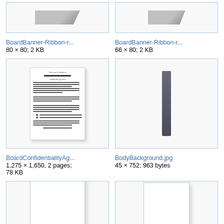[Figure (screenshot): Thumbnail of BoardBanner-Ribbon image (gray ribbon shape), 80×80, 2KB]
[Figure (screenshot): Thumbnail of BoardBanner-Ribbon image (gray ribbon shape), 66×80, 2KB]
BoardBanner-Ribbon-r...
BoardBanner-Ribbon-r...
80 × 80; 2 KB
66 × 80; 2 KB
[Figure (screenshot): Thumbnail of BoardConfidentialityAgreement PDF document, 1,275×1,650, 2 pages; 78 KB]
[Figure (screenshot): Thumbnail of BodyBackground.jpg, vertical dark bar image, 45×752; 963 bytes]
BoardConfidentialityAg...
BodyBackground.jpg
1,275 × 1,650, 2 pages;
78 KB
45 × 752; 963 bytes
[Figure (screenshot): Thumbnail of blank document page (large)]
[Figure (screenshot): Thumbnail of blank document page (medium)]